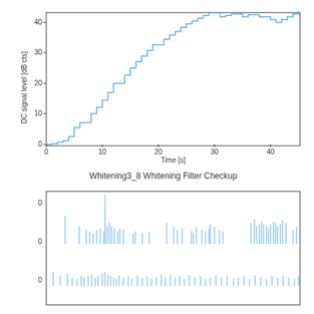[Figure (continuous-plot): Step-function line chart showing DC signal level in dB cts rising from 0 to approximately 44 as time goes from 0 to 45 seconds, with staircase increments.]
Whitening3_8 Whitening Filter Checkup
[Figure (continuous-plot): A bar/spike plot showing signal spikes at various times, with y-axis values around 0, showing multiple sharp vertical spikes of varying heights across the time axis.]